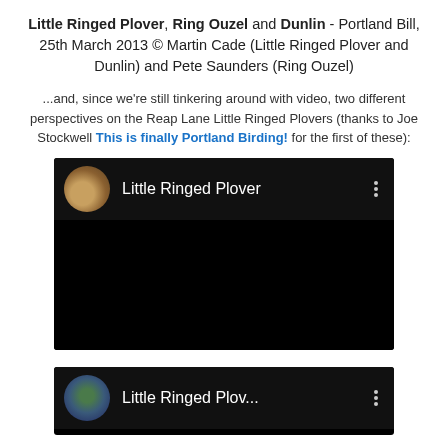Little Ringed Plover, Ring Ouzel and Dunlin - Portland Bill, 25th March 2013 © Martin Cade (Little Ringed Plover and Dunlin) and Pete Saunders (Ring Ouzel)
...and, since we're still tinkering around with video, two different perspectives on the Reap Lane Little Ringed Plovers (thanks to Joe Stockwell This is finally Portland Birding! for the first of these):
[Figure (screenshot): YouTube video embed thumbnail showing 'Little Ringed Plover' with black background, circular avatar of a bird, and three-dot menu icon]
[Figure (screenshot): YouTube video embed thumbnail showing 'Little Ringed Plov...' with black background, circular avatar of a person, and three-dot menu icon]